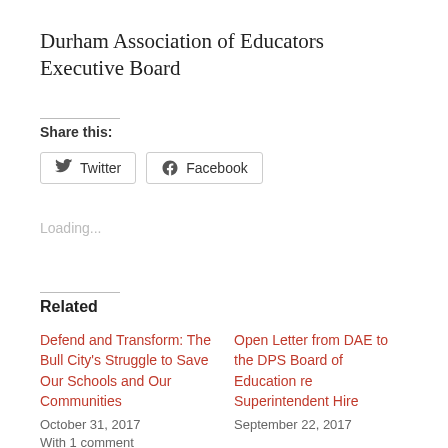Durham Association of Educators Executive Board
Share this:
[Figure (other): Twitter and Facebook share buttons]
Loading...
Related
Defend and Transform: The Bull City's Struggle to Save Our Schools and Our Communities
October 31, 2017
With 1 comment
Open Letter from DAE to the DPS Board of Education re Superintendent Hire
September 22, 2017